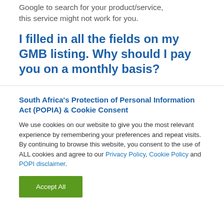Google to search for your product/service, this service might not work for you.
I filled in all the fields on my GMB listing. Why should I pay you on a monthly basis?
South Africa's Protection of Personal Information Act (POPIA) & Cookie Consent
We use cookies on our website to give you the most relevant experience by remembering your preferences and repeat visits. By continuing to browse this website, you consent to the use of ALL cookies and agree to our Privacy Policy, Cookie Policy and POPI disclaimer.
Accept All